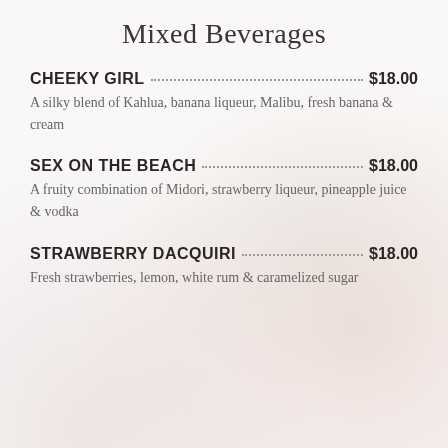Mixed Beverages
CHEEKY GIRL $18.00
A silky blend of Kahlua, banana liqueur, Malibu, fresh banana & cream
SEX ON THE BEACH $18.00
A fruity combination of Midori, strawberry liqueur, pineapple juice & vodka
STRAWBERRY DACQUIRI $18.00
Fresh strawberries, lemon, white rum & caramelized sugar